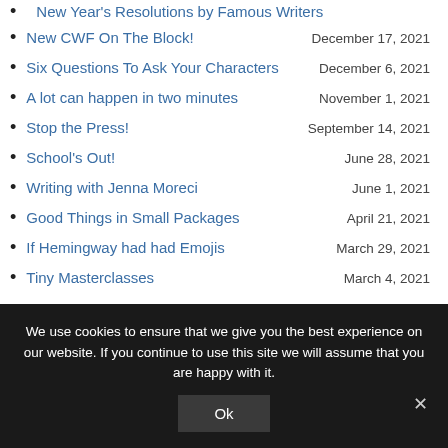New CWF On The Block!
Six Questions To Ask Your Characters
A lot can happen in two minutes
Stop the Press!
School’s Out!
Writing with Jenna Moreci
Good Things in Small Packages
If Hemingway had had Emojis
Tiny Masterclasses
We use cookies to ensure that we give you the best experience on our website. If you continue to use this site we will assume that you are happy with it.